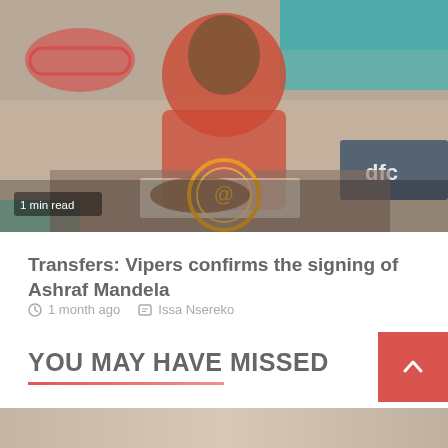[Figure (photo): A football player in a red polo shirt seated at a desk, signing a document. Sponsor banners visible in background including CON, dima, and dfcu logos. Orange circle icon overlaid on the image. '1 min read' badge in bottom left.]
Transfers: Vipers confirms the signing of Ashraf Mandela
1 month ago   Issa Nsereko
YOU MAY HAVE MISSED
[Figure (photo): Bottom strip of a photo partially visible at the bottom of the page.]